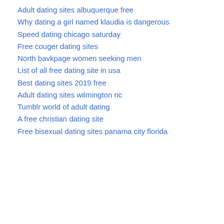Adult dating sites albuquerque free
Why dating a girl named klaudia is dangerous
Speed dating chicago saturday
Free couger dating sites
North bavkpage women seeking men
List of all free dating site in usa
Best dating sites 2019 free
Adult dating sites wilmington nc
Tumblr world of adult dating
A free christian dating site
Free bisexual dating sites panama city florida